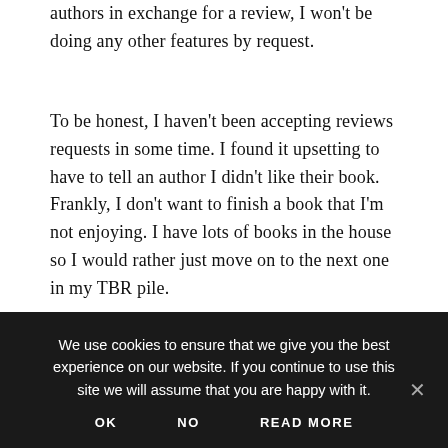submissions for my blog. I won't be accepting books from authors in exchange for a review. I won't be doing any other features by request.
To be honest, I haven't been accepting reviews requests in some time. I found it upsetting to have to tell an author I didn't like their book. Frankly, I don't want to finish a book that I'm not enjoying. I have lots of books in the house so I would rather just move on to the next one in my TBR pile.
We use cookies to ensure that we give you the best experience on our website. If you continue to use this site we will assume that you are happy with it.
OK   NO   READ MORE